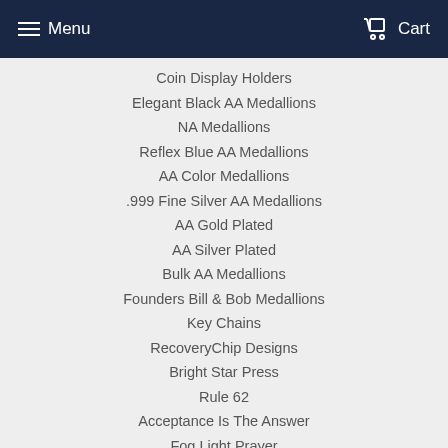Menu   Cart
Coin Display Holders
Elegant Black AA Medallions
NA Medallions
Reflex Blue AA Medallions
AA Color Medallions
.999 Fine Silver AA Medallions
AA Gold Plated
AA Silver Plated
Bulk AA Medallions
Founders Bill & Bob Medallions
Key Chains
RecoveryChip Designs
Bright Star Press
Rule 62
Acceptance Is The Answer
Fog Light Prayer
LGBT Rainbow